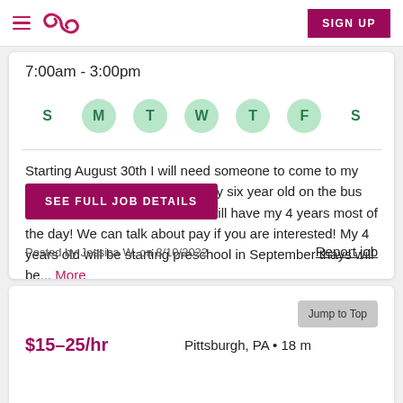Navigation header with hamburger menu, Sittercity logo, and SIGN UP button
7:00am - 3:00pm
[Figure (infographic): Week day selector showing S M T W T F S with M, T, W, T, F highlighted in green circles]
Starting August 30th I will need someone to come to my house m-f to help with putting my six year old on the bus between 815-830am and then will have my 4 years most of the day! We can talk about pay if you are interested! My 4 years old will be starting preschool in September thays will be... More
SEE FULL JOB DETAILS
Posted by Jessica W. on 8/10/2022
Report job
$15–25/hr
Pittsburgh, PA • 18 m
Jump to Top